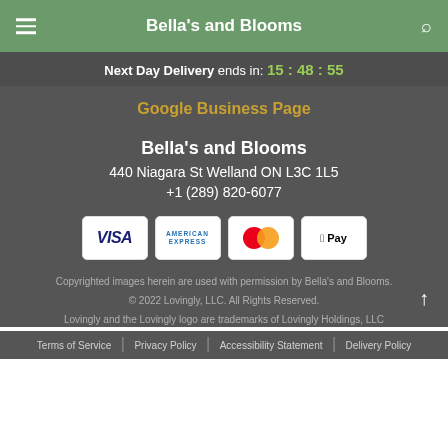Bella's and Blooms
Next Day Delivery ends in: 15 : 48 : 55
Google Business Page
Bella's and Blooms
440 Niagara St Welland ON L3C 1L5
+1 (289) 820-6077
[Figure (other): Payment method icons: Visa, American Express, Mastercard, Apple Pay]
Copyrighted images herein are used with permission by Bella's and Blooms.
© 2022 Lovingly, LLC. All Rights Reserved.
Lovingly and the Lovingly logo are trademarks of Lovingly Holdings, LLC
Terms of Service | Privacy Policy | Accessibility Statement | Delivery Policy